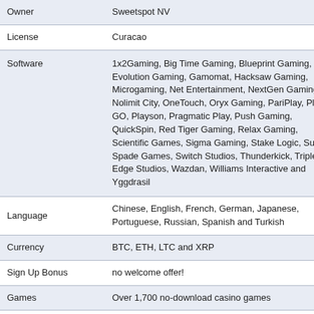| Field | Value |
| --- | --- |
| Owner | Sweetspot NV |
| License | Curacao |
| Software | 1x2Gaming, Big Time Gaming, Blueprint Gaming, Evolution Gaming, Gamomat, Hacksaw Gaming, Microgaming, Net Entertainment, NextGen Gaming, Nolimit City, OneTouch, Oryx Gaming, PariPlay, Play N GO, Playson, Pragmatic Play, Push Gaming, QuickSpin, Red Tiger Gaming, Relax Gaming, Scientific Games, Sigma Gaming, Stake Logic, Super Spade Games, Switch Studios, Thunderkick, Triple Edge Studios, Wazdan, Williams Interactive and Yggdrasil |
| Language | Chinese, English, French, German, Japanese, Portuguese, Russian, Spanish and Turkish |
| Currency | BTC, ETH, LTC and XRP |
| Sign Up Bonus | no welcome offer! |
| Games | Over 1,700 no-download casino games |